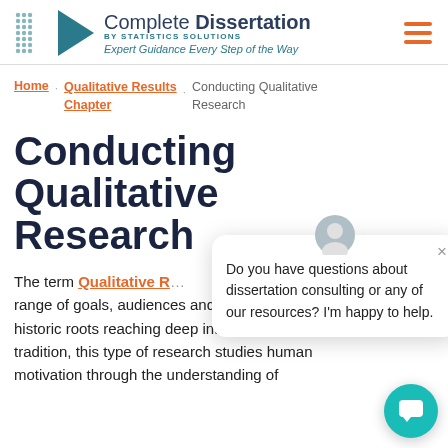Complete Dissertation by Statistics Solutions — Expert Guidance Every Step of the Way
Home · Qualitative Results Chapter · Conducting Qualitative Research
Conducting Qualitative Research
The term Qualitative Research encompasses a wide range of goals, audiences and methodologies. With historic roots reaching deep into the psychoanalytic tradition, this type of research studies human motivation through the understanding of
Do you have questions about dissertation consulting or any of our resources? I'm happy to help.